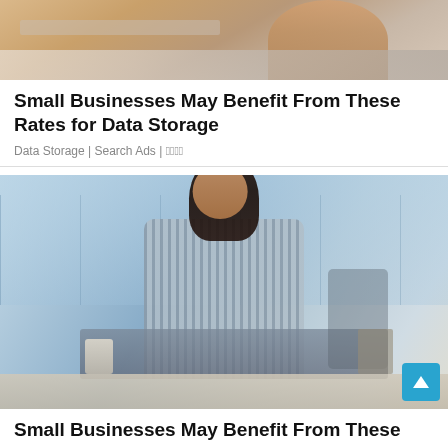[Figure (photo): Partial cropped photo at top showing a person in a beige/caramel outfit at a desk, only the torso and arms visible]
Small Businesses May Benefit From These Rates for Data Storage
Data Storage | Search Ads | 광고
[Figure (photo): A young woman with braided hair wearing a striped shirt, sitting at a desk working on a laptop in a modern office environment with blue-toned background. A scroll-to-top button appears in the bottom right corner.]
Small Businesses May Benefit From These